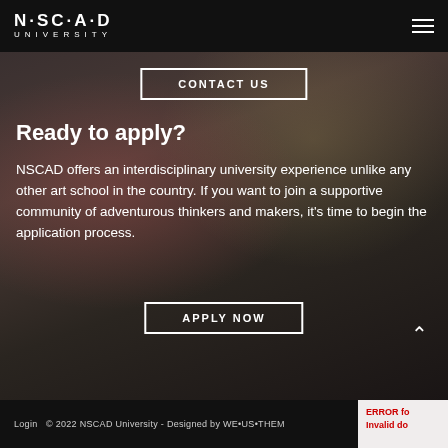NSCAD UNIVERSITY
CONTACT US
Ready to apply?
NSCAD offers an interdisciplinary university experience unlike any other art school in the country. If you want to join a supportive community of adventurous thinkers and makers, it’s time to begin the application process.
APPLY NOW
[Figure (photo): Background photo of an art studio/printmaking workshop with artwork on walls and a person partially visible on the right side.]
Login   © 2022 NSCAD University - Designed by WE•US•THEM
ERROR fo
Invalid do